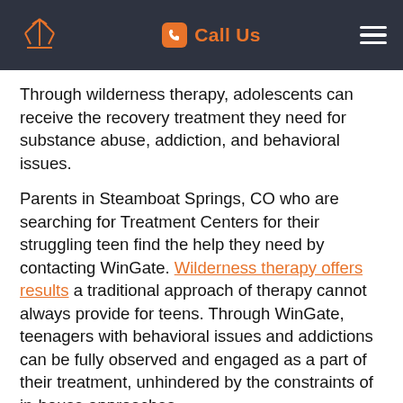Call Us
Through wilderness therapy, adolescents can receive the recovery treatment they need for substance abuse, addiction, and behavioral issues.
Parents in Steamboat Springs, CO who are searching for Treatment Centers for their struggling teen find the help they need by contacting WinGate. Wilderness therapy offers results a traditional approach of therapy cannot always provide for teens. Through WinGate, teenagers with behavioral issues and addictions can be fully observed and engaged as a part of their treatment, unhindered by the constraints of in-house approaches.
We base our treatment on the philosophies of the Arbinger Institute. This approach is based on years of research that shows traditional approaches to